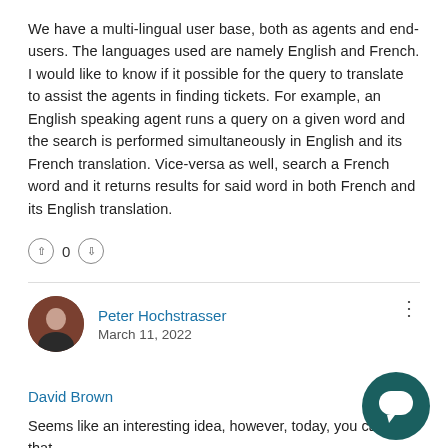We have a multi-lingual user base, both as agents and end-users. The languages used are namely English and French. I would like to know if it possible for the query to translate to assist the agents in finding tickets. For example, an English speaking agent runs a query on a given word and the search is performed simultaneously in English and its French translation. Vice-versa as well, search a French word and it returns results for said word in both French and its English translation.
↑ 0 ↓
Peter Hochstrasser
March 11, 2022
David Brown
Seems like an interesting idea, however, today, you can't do that.